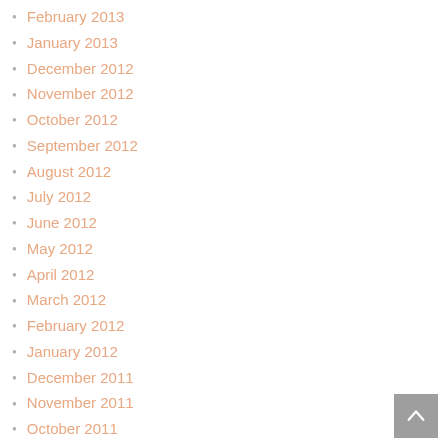February 2013
January 2013
December 2012
November 2012
October 2012
September 2012
August 2012
July 2012
June 2012
May 2012
April 2012
March 2012
February 2012
January 2012
December 2011
November 2011
October 2011
September 2011
August 2011
July 2011
[Figure (other): Back to top button - grey square with upward chevron arrow]